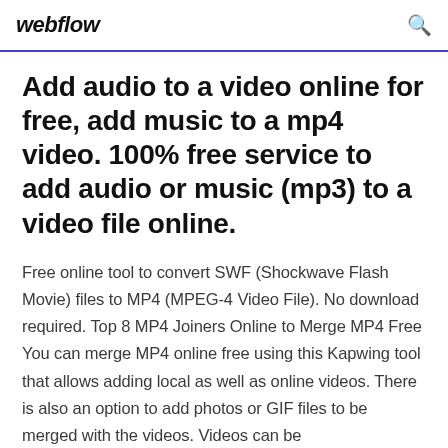webflow
Add audio to a video online for free, add music to a mp4 video. 100% free service to add audio or music (mp3) to a video file online.
Free online tool to convert SWF (Shockwave Flash Movie) files to MP4 (MPEG-4 Video File). No download required. Top 8 MP4 Joiners Online to Merge MP4 Free You can merge MP4 online free using this Kapwing tool that allows adding local as well as online videos. There is also an option to add photos or GIF files to be merged with the videos. Videos can be